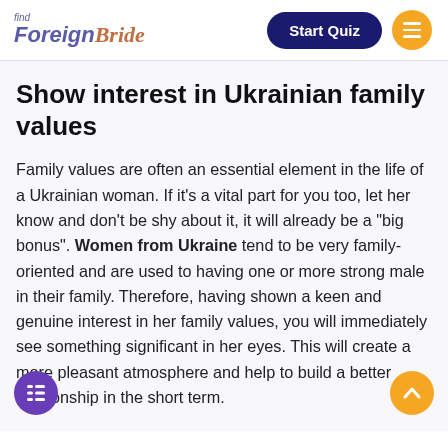find ForeignBride — Start Quiz
Show interest in Ukrainian family values
Family values are often an essential element in the life of a Ukrainian woman. If it's a vital part for you too, let her know and don't be shy about it, it will already be a "big bonus". Women from Ukraine tend to be very family-oriented and are used to having one or more strong male in their family. Therefore, having shown a keen and genuine interest in her family values, you will immediately see something significant in her eyes. This will create a more pleasant atmosphere and help to build a better relationship in the short term.